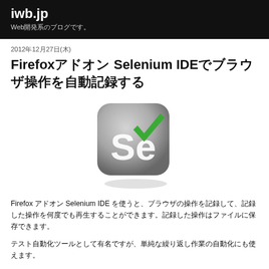iwb.jp
Web開発系のブログです。
2012年12月27日(木)
Firefoxアドオン Selenium IDEでブラウザ操作を自動記録する
[Figure (logo): Selenium IDE logo: rounded square with gradient grey background, white 'Se' text, green checkmark overlay]
Firefoxアドオン Selenium IDEを使うと、ブラウザの操作を記録して、記録した操作を何度でも再生することができます。記録した操作はファイルに保存できます。
テスト自動化ツールとして有名ですが、単純な繰り返し作業の自動化にも使えます。